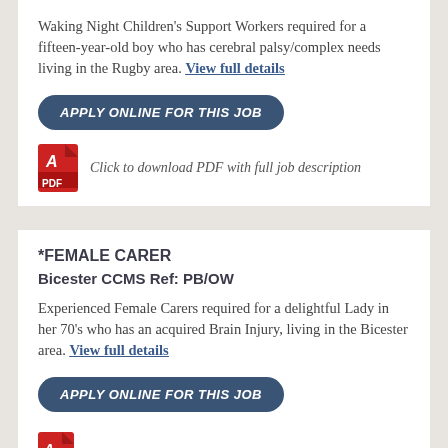Waking Night Children's Support Workers required for a fifteen-year-old boy who has cerebral palsy/complex needs living in the Rugby area. View full details
APPLY ONLINE FOR THIS JOB
Click to download PDF with full job description
*FEMALE CARER
Bicester CCMS Ref: PB/OW
Experienced Female Carers required for a delightful Lady in her 70's who has an acquired Brain Injury, living in the Bicester area. View full details
APPLY ONLINE FOR THIS JOB
[Figure (other): Red PDF icon at bottom of page]